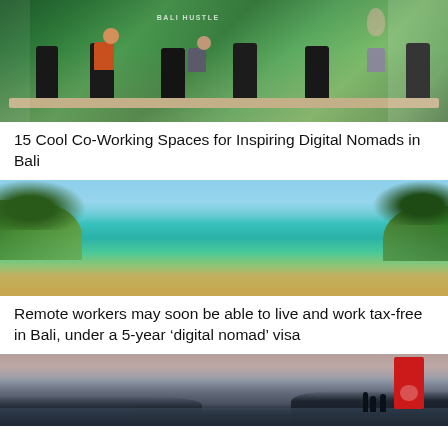[Figure (photo): Interior of a coworking space with people working at desks, black office chairs, and a green tropical mural on the wall with 'BALI HUSTLE' text]
15 Cool Co-Working Spaces for Inspiring Digital Nomads in Bali
[Figure (photo): Tropical beach with turquoise water, sandy shore, green tree branches framing the top, and lush green hills on either side]
Remote workers may soon be able to live and work tax-free in Bali, under a 5-year ‘digital nomad’ visa
[Figure (photo): Sunset beach scene in Bali with silhouettes of people, dark water, cloudy sky, and a red sign on the right side]